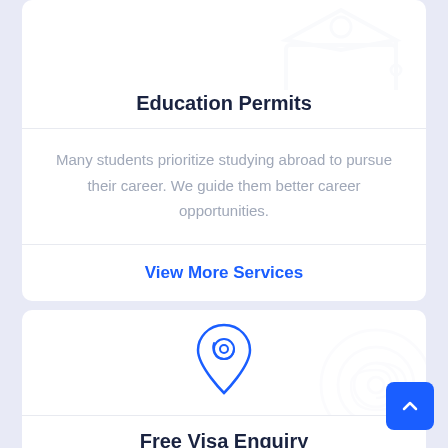Education Permits
Many students prioritize studying abroad to pursue their career. We guide them better career opportunities.
View More Services
[Figure (illustration): Blue location pin icon with @ symbol inside, with a faded @ symbol watermark in background]
Free Visa Enquiry
You can directly contact us through filling up the